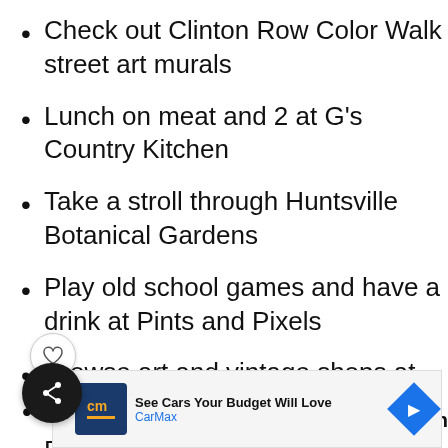Check out Clinton Row Color Walk street art murals
Lunch on meat and 2 at G's Country Kitchen
Take a stroll through Huntsville Botanical Gardens
Play old school games and have a drink at Pints and Pixels
Browse art and vintage shops at Lowe Mill Arts and Entertainment
Eat pizza, drink craft beer and throw an axe at Campus 805
[Figure (screenshot): CarMax advertisement banner: 'See Cars Your Budget Will Love' with CarMax logo and blue arrow icon]
n again